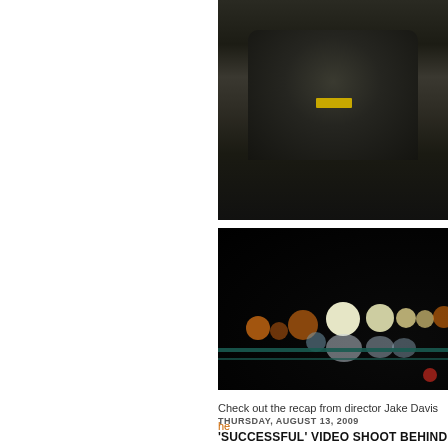[Figure (photo): Night photo of a person wearing a dark jacket with a Barbour label, cropped to show torso and neck area with a chain necklace, dark background]
[Figure (photo): Dark nighttime cityscape photo showing blurry bokeh lights in orange, white, and blue tones, with a metal railing visible in the lower portion]
Check out the recap from director Jake Davis here
THURSDAY, AUGUST 13, 2009
'SUCCESSFUL' VIDEO SHOOT BEHIND TH...